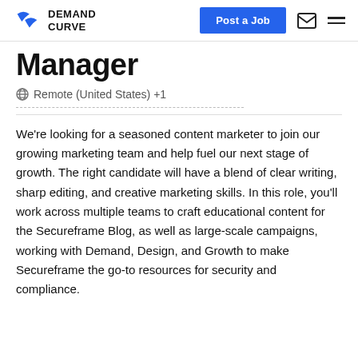DEMAND CURVE | Post a Job
Manager
Remote (United States) +1
We're looking for a seasoned content marketer to join our growing marketing team and help fuel our next stage of growth. The right candidate will have a blend of clear writing, sharp editing, and creative marketing skills. In this role, you'll work across multiple teams to craft educational content for the Secureframe Blog, as well as large-scale campaigns, working with Demand, Design, and Growth to make Secureframe the go-to resources for security and compliance.